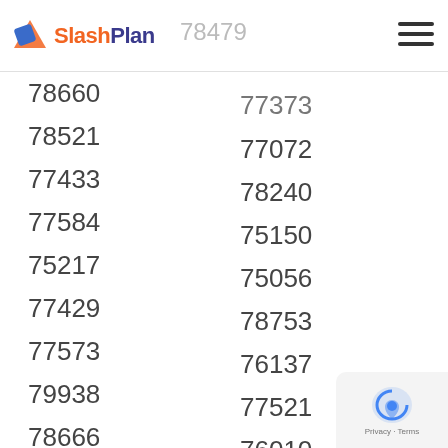SlashPlan
78479
78249
77373
78660
77072
78521
78240
77433
75150
77584
75056
75217
78753
77429
76137
77573
77521
79938
76010
78666
77407
78613
75227
77070